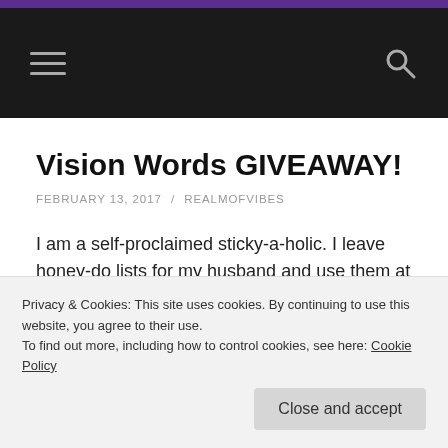Vision Words GIVEAWAY!
FEBRUARY 13, 2017 / REALMOFVIBES
I am a self-proclaimed sticky-a-holic. I leave honey-do lists for my husband and use them at work to remind myself to complete progress notes or write doctor's orders. If my coworkers are having a bad day, I leave love
Privacy & Cookies: This site uses cookies. By continuing to use this website, you agree to their use.
To find out more, including how to control cookies, see here: Cookie Policy
Close and accept